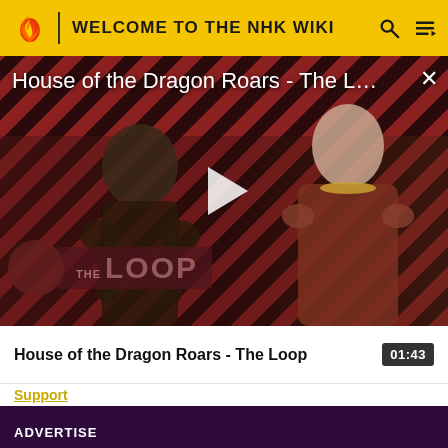WELCOME TO THE NHK WIKI
[Figure (screenshot): Video thumbnail for 'House of the Dragon Roars - The Loop' showing two characters against a diagonal red and dark stripe background with a play button in the center and The Loop logo in the bottom left.]
House of the Dragon Roars - The Loop
01:43
Support
ADVERTISE